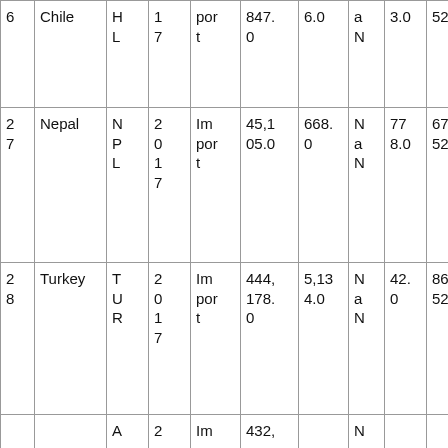| 6 | Chile | H
L | 1
7 | por
t | 847.
0 | 6.0 | a
N | 3.0 | 52 |
| 2
7 | Nepal | N
P
L | 2
0
1
7 | Im
por
t | 45,1
05.0 | 668.
0 | N
a
N | 77
8.0 | 67.
52 |
| 2
8 | Turkey | T
U
R | 2
0
1
7 | Im
por
t | 444,
178.
0 | 5,13
4.0 | N
a
N | 42.
0 | 86.
52 |
|  |  | A | 2 | Im | 432, |  | N |  |  |